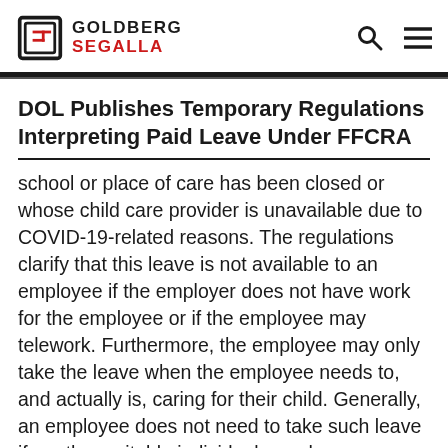[Figure (logo): Goldberg Segalla law firm logo with stylized G icon and firm name in black and red]
DOL Publishes Temporary Regulations Interpreting Paid Leave Under FFCRA
school or place of care has been closed or whose child care provider is unavailable due to COVID-19-related reasons. The regulations clarify that this leave is not available to an employee if the employer does not have work for the employee or if the employee may telework. Furthermore, the employee may only take the leave when the employee needs to, and actually is, caring for their child. Generally, an employee does not need to take such leave if another suitable individual—such as a co-parent, co-guardian, or the usual